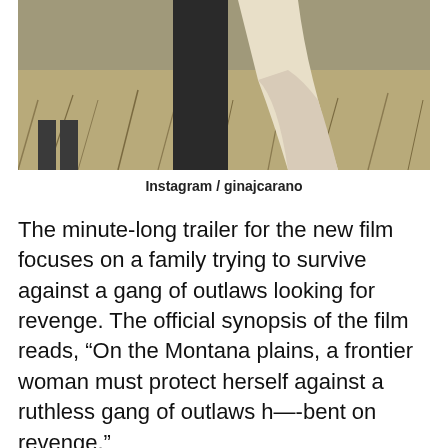[Figure (photo): Outdoor scene showing people in a grassy field; a person in a white flowing dress and a person in dark clothing are visible from the waist down, standing in dry grass.]
Instagram / ginajcarano
The minute-long trailer for the new film focuses on a family trying to survive against a gang of outlaws looking for revenge. The official synopsis of the film reads, “On the Montana plains, a frontier woman must protect herself against a ruthless gang of outlaws h—-bent on revenge.”